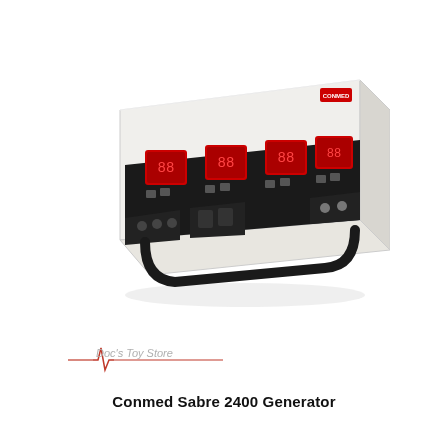[Figure (photo): Conmed Sabre 2400 electrosurgical generator unit — a white rectangular medical device with black front panel featuring red LED displays and multiple control buttons, with a black carry handle at the front bottom.]
[Figure (logo): Doc's Toy Store logo — stylized text with a heartbeat/ECG line graphic in red and grey.]
Conmed Sabre 2400 Generator